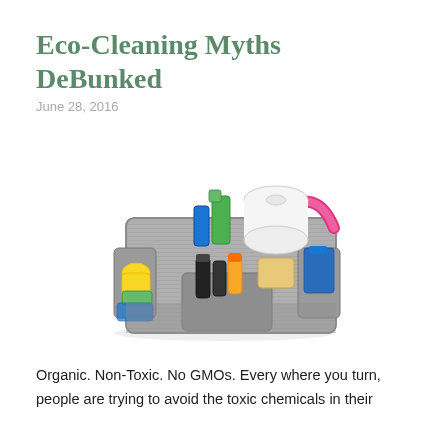Eco-Cleaning Myths DeBunked
June 28, 2016
[Figure (photo): A grey striped mesh caddy/tote bag filled with cleaning supplies including rubber gloves, sponges, spray bottles, paper towel rolls, and cloths, with a pink handle, on a white background.]
Organic.  Non-Toxic. No GMOs.  Every where you turn, people are trying to avoid the toxic chemicals in their